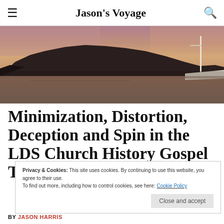Jason's Voyage
[Figure (photo): Panoramic sunset photo of mountains reflected in water with a sailboat mast visible on the right side]
Minimization, Distortion, Deception and Spin in the LDS Church History Gospel Topics Essays
Privacy & Cookies: This site uses cookies. By continuing to use this website, you agree to their use. To find out more, including how to control cookies, see here: Cookie Policy
Close and accept
BY JASON HARRIS